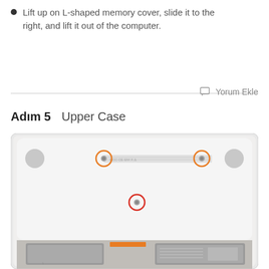Lift up on L-shaped memory cover, slide it to the right, and lift it out of the computer.
Yorum Ekle
Adım 5   Upper Case
[Figure (photo): Bottom of a white laptop showing screws highlighted with orange and red circles indicating removal points, with internal components visible at the bottom edge.]